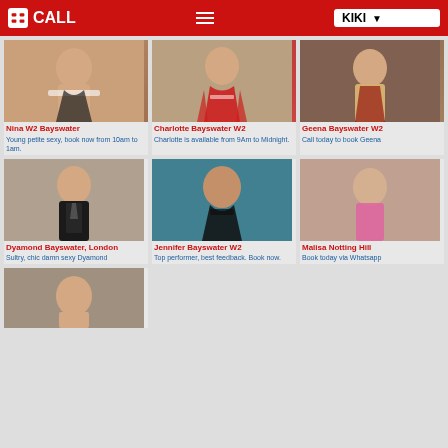CALL | KIKI
[Figure (photo): Photo of Nina – young petite woman]
Nina W2 Bayswater
Young petite sexy, book now from 10am to 1am.
[Figure (photo): Photo of Charlotte in red cheerleader outfit]
Charlotte Bayswater W2
Charlotte is available from 9Am to Midnight.
[Figure (photo): Photo of Geena in schoolgirl outfit]
Geena Bayswater W2
Call today to book Geena
[Figure (photo): Photo of Dyamond in black latex]
Dyamond Bayswater, London
Sultry, chic damn sexy Dyamond
[Figure (photo): Photo of Jennifer in black swimwear]
Jennifer Bayswater W2
Top performer, best feedback. Book now.
[Figure (photo): Photo of Malisa in pink]
Malisa Notting Hill
Book today via Whatsapp
[Figure (photo): Partial photo of another escort – bottom row]